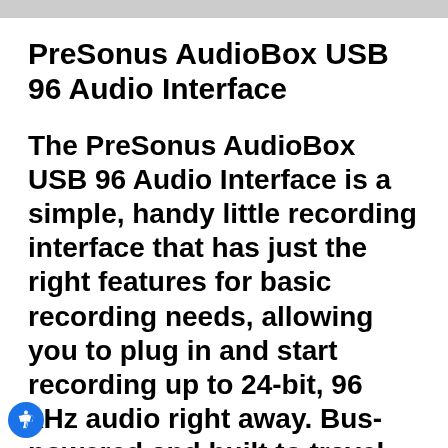PreSonus AudioBox USB 96 Audio Interface
The PreSonus AudioBox USB 96 Audio Interface is a simple, handy little recording interface that has just the right features for basic recording needs, allowing you to plug in and start recording up to 24-bit, 96 kHz audio right away. Bus-powered and built to travel, the